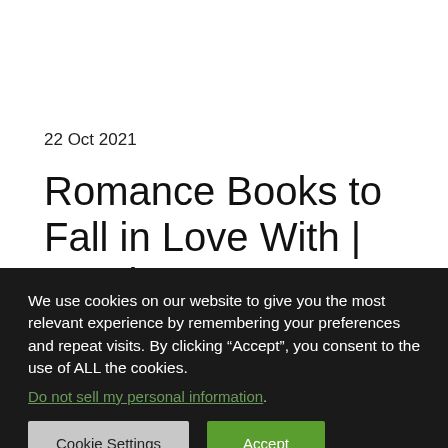22 Oct 2021
Romance Books to Fall in Love With | October 2021
We use cookies on our website to give you the most relevant experience by remembering your preferences and repeat visits. By clicking “Accept”, you consent to the use of ALL the cookies.
Do not sell my personal information.
Cookie Settings
Accept